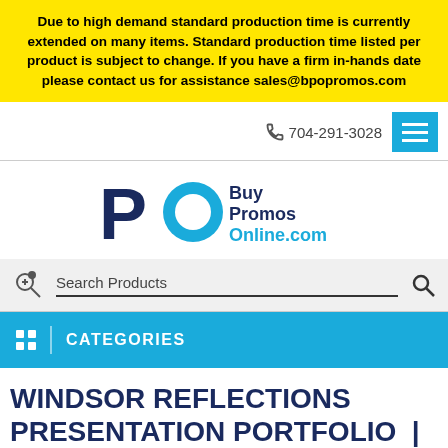Due to high demand standard production time is currently extended on many items. Standard production time listed per product is subject to change. If you have a firm in-hands date please contact us for assistance sales@bpopromos.com
704-291-3028
[Figure (logo): BuyPromosOnline.com logo with blue 'PO' letters and company name]
Search Products
CATEGORIES
WINDSOR REFLECTIONS PRESENTATION PORTFOLIO  |  ITEM 0550-77